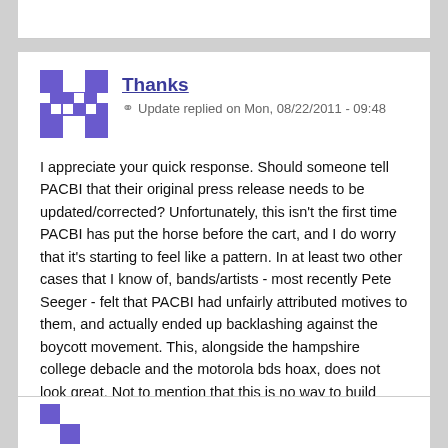Thanks
Update replied on Mon, 08/22/2011 - 09:48
I appreciate your quick response. Should someone tell PACBI that their original press release needs to be updated/corrected? Unfortunately, this isn't the first time PACBI has put the horse before the cart, and I do worry that it's starting to feel like a pattern. In at least two other cases that I know of, bands/artists - most recently Pete Seeger - felt that PACBI had unfairly attributed motives to them, and actually ended up backlashing against the boycott movement. This, alongside the hampshire college debacle and the motorola bds hoax, does not look great. Not to mention that this is no way to build alliances and win a campaign!